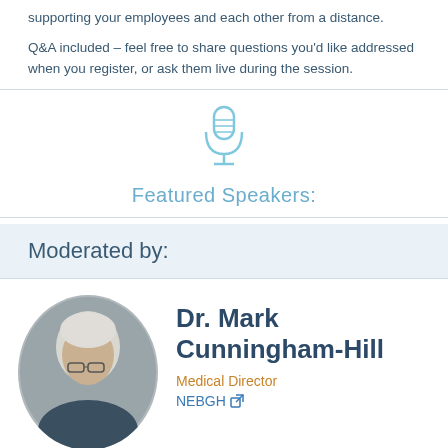supporting your employees and each other from a distance.
Q&A included – feel free to share questions you'd like addressed when you register, or ask them live during the session.
[Figure (illustration): Microphone icon in light blue outline style]
Featured Speakers:
Moderated by:
[Figure (photo): Circular portrait photo of Dr. Mark Cunningham-Hill, an older man with white/grey hair and glasses, gray background]
Dr. Mark Cunningham-Hill
Medical Director
NEBGH